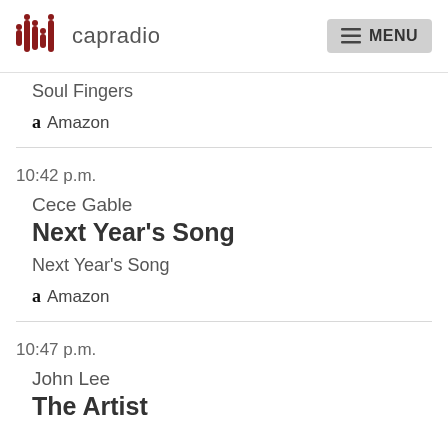capradio  MENU
Soul Fingers
Amazon
10:42 p.m.
Cece Gable
Next Year's Song
Next Year's Song
Amazon
10:47 p.m.
John Lee
The Artist